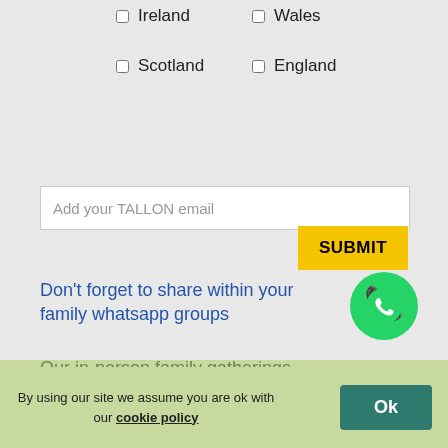☐ Ireland
☐ Wales
☐ Scotland
☐ England
Add your TALLON email
SUBMIT
Don't forget to share within your family whatsapp groups
[Figure (logo): WhatsApp green circle logo with phone handset icon]
Our in-person family gatherings
By using our site we assume you are ok with our cookie policy
Ok